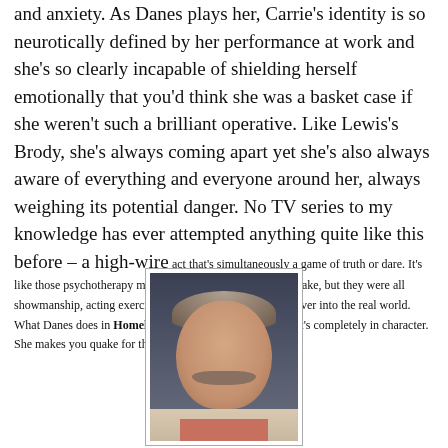and anxiety. As Danes plays her, Carrie's identity is so neurotically defined by her performance at work and she's so clearly incapable of shielding herself emotionally that you'd think she was a basket case if she weren't such a brilliant operative. Like Lewis's Brody, she's always coming apart yet she's also always aware of everything and everyone around her, always weighing its potential danger. No TV series to my knowledge has ever attempted anything quite like this before – a high-wire act that's simultaneously a game of truth or dare. It's like those psychotherapy movies John Cassavetes used to make, but they were all showmanship, acting exercises that never seemed to cross over into the real world. What Danes does in Homeland is acting, not narcissism – it's completely in character. She makes you quake for the character she plays.
[Figure (photo): Headshot portrait of a middle-aged man with gray-brown hair and a mustache, wearing a light jacket over a salmon/red shirt, against a dark background.]